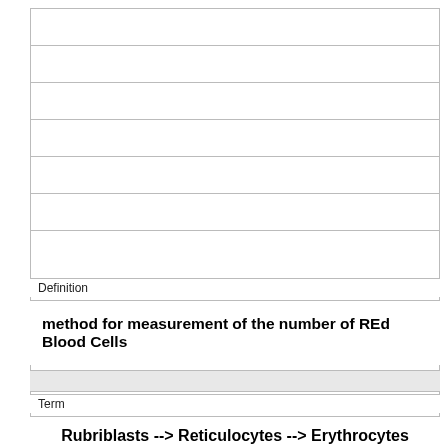Definition
method for measurement of the number of REd Blood Cells
Term
Rubriblasts --> Reticulocytes --> Erythrocytes